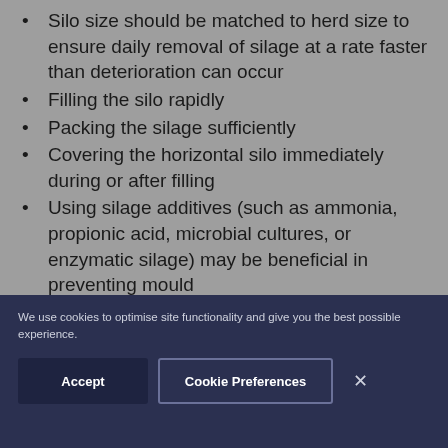Silo size should be matched to herd size to ensure daily removal of silage at a rate faster than deterioration can occur
Filling the silo rapidly
Packing the silage sufficiently
Covering the horizontal silo immediately during or after filling
Using silage additives (such as ammonia, propionic acid, microbial cultures, or enzymatic silage) may be beneficial in preventing mould
We use cookies to optimise site functionality and give you the best possible experience.